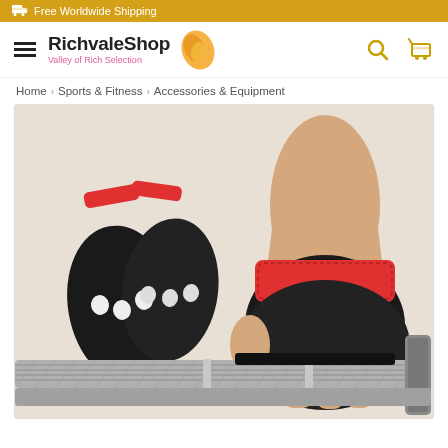Free Worldwide Shipping
[Figure (logo): RichvaleShop logo with orange leaf/circle icon and tagline 'Valley of Rich Selection']
Home > Sports & Fitness > Accessories & Equipment
[Figure (photo): Fitness weightlifting hand grips/gloves in black with red wrist strap, shown on a hand gripping a barbell. Left side shows the palm-side of two gloves with finger holes.]